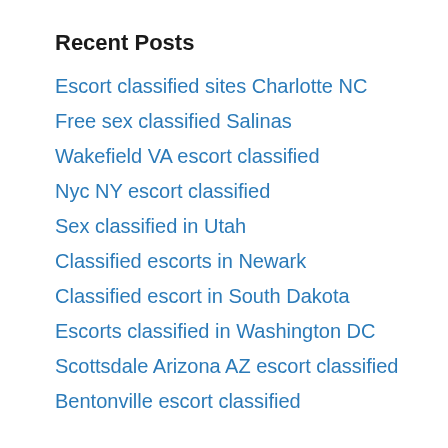Recent Posts
Escort classified sites Charlotte NC
Free sex classified Salinas
Wakefield VA escort classified
Nyc NY escort classified
Sex classified in Utah
Classified escorts in Newark
Classified escort in South Dakota
Escorts classified in Washington DC
Scottsdale Arizona AZ escort classified
Bentonville escort classified